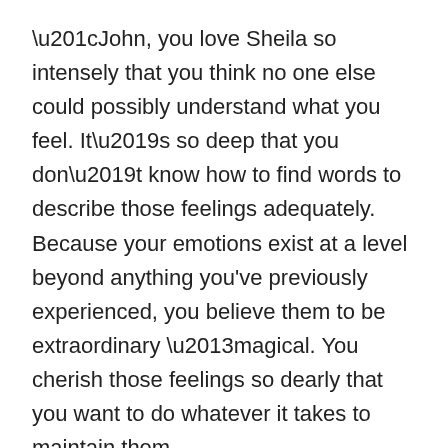“John, you love Sheila so intensely that you think no one else could possibly understand what you feel. It’s so deep that you don’t know how to find words to describe those feelings adequately. Because your emotions exist at a level beyond anything you've previously experienced, you believe them to be extraordinary –magical. You cherish those feelings so dearly that you want to do whatever it takes to maintain them.
“I understand that. And I don’t blame you for not wanting to let them go. However, no matter what you do, what you feel now isn’t going to last. We know from science and from our own experience with thousands of people that limerence lasts somewhere between three months to three years and then it